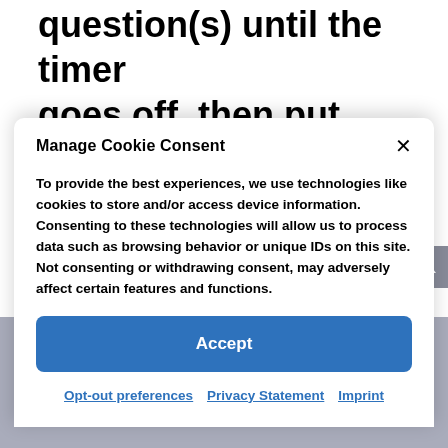question(s) until the timer goes off, then put your hands back on your heart to say, "Thank you."
Manage Cookie Consent
To provide the best experiences, we use technologies like cookies to store and/or access device information. Consenting to these technologies will allow us to process data such as browsing behavior or unique IDs on this site. Not consenting or withdrawing consent, may adversely affect certain features and functions.
Accept
Opt-out preferences   Privacy Statement   Imprint